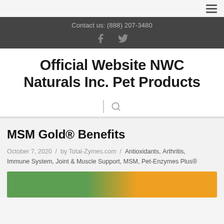Contact us: (888) 207-3480
Official Website NWC Naturals Inc. Pet Products
MSM Gold® Benefits
October 7, 2020 / by Total-Zymes.com / Antioxidants, Arthritis, Immune System, Joint & Muscle Support, MSM, Pet-Enzymes Plus®
[Figure (photo): Partial image of a green and orange background, bottom of page]